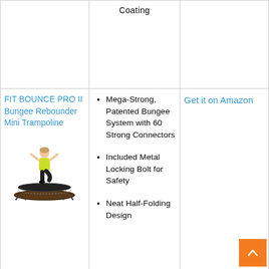Coating
FIT BOUNCE PRO II Bungee Rebounder Mini Trampoline
[Figure (photo): Woman in yellow top standing on one leg on a mini trampoline rebounder]
Mega-Strong, Patented Bungee System with 60 Strong Connectors
Included Metal Locking Bolt for Safety
Neat Half-Folding Design
Get it on Amazon